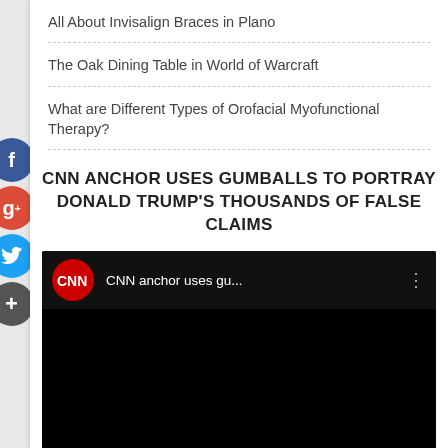All About Invisalign Braces in Plano
The Oak Dining Table in World of Warcraft
What are Different Types of Orofacial Myofunctional Therapy?
CNN ANCHOR USES GUMBALLS TO PORTRAY DONALD TRUMP'S THOUSANDS OF FALSE CLAIMS
[Figure (screenshot): Embedded YouTube video thumbnail showing CNN anchor video titled 'CNN anchor uses gu...' with CNN logo on black background]
ARCHIVES
September 2022